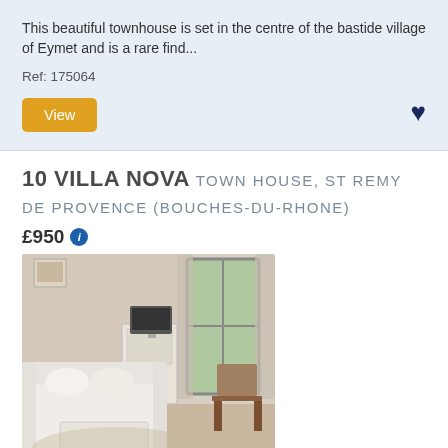This beautiful townhouse is set in the centre of the bastide village of Eymet and is a rare find...
Ref: 175064
View
10 VILLA NOVA TOWN HOUSE, ST REMY DE PROVENCE (BOUCHES-DU-RHONE)
£950
[Figure (photo): Interior photo of a Provençal town house living room with white sofa, coffee table, TV cabinet, and French doors leading to a balcony]
Self-catering Town house with 2 bedrooms and 1 bathrooms. Sleeps 3. Non-applicable changeover.
66.0km from coastline/beach
Provençal style modern town house built in the grounds of 19th...